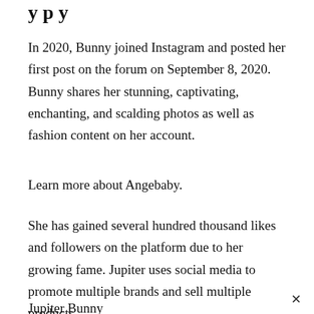y p y
In 2020, Bunny joined Instagram and posted her first post on the forum on September 8, 2020. Bunny shares her stunning, captivating, enchanting, and scalding photos as well as fashion content on her account.
Learn more about Angebaby.
She has gained several hundred thousand likes and followers on the platform due to her growing fame. Jupiter uses social media to promote multiple brands and sell multiple products.
Jupiter Bunny